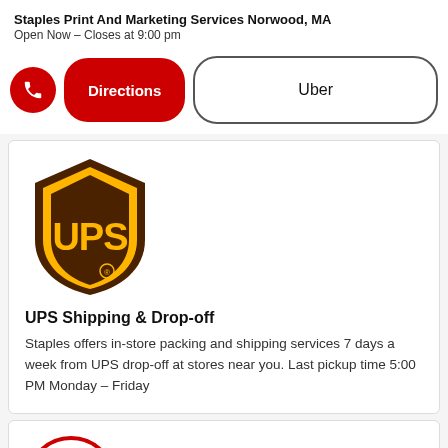Staples Print And Marketing Services Norwood, MA
Open Now – Closes at 9:00 pm
[Figure (logo): UPS shield logo with brown and yellow colors and registered trademark symbol]
UPS Shipping & Drop-off
Staples offers in-store packing and shipping services 7 days a week from UPS drop-off at stores near you. Last pickup time 5:00 PM Monday – Friday
[Figure (illustration): Red circle outline containing an icon of a document/print interface with text lines and a small square]